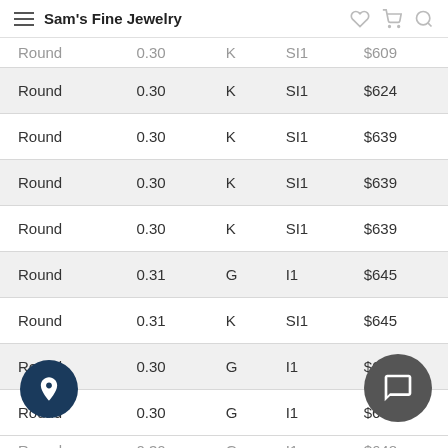Sam's Fine Jewelry
| Shape | Carat | Color | Clarity | Price |
| --- | --- | --- | --- | --- |
| Round | 0.30 | K | SI1 | $609 |
| Round | 0.30 | K | SI1 | $624 |
| Round | 0.30 | K | SI1 | $639 |
| Round | 0.30 | K | SI1 | $639 |
| Round | 0.30 | K | SI1 | $639 |
| Round | 0.31 | G | I1 | $645 |
| Round | 0.31 | K | SI1 | $645 |
| Round | 0.30 | G | I1 | $648 |
| Round | 0.30 | G | I1 | $6… |
| Round | 0.30 | G | I1 | $648 |